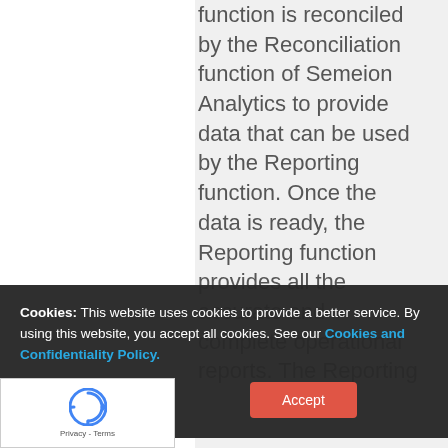function is reconciled by the Reconciliation function of Semeion Analytics to provide data that can be used by the Reporting function. Once the data is ready, the Reporting function provides all the accurate and complete operational reports. The Reporting
Cookies: This website uses cookies to provide a better service. By using this website, you accept all cookies. See our Cookies and Confidentiality Policy.